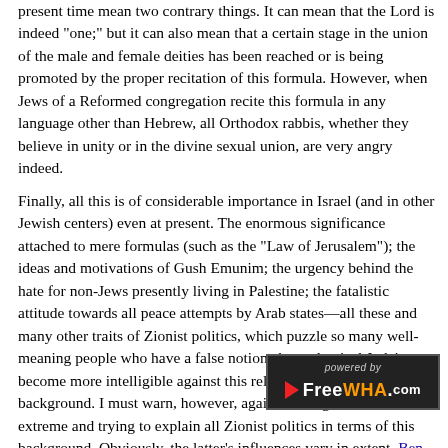present time mean two contrary things. It can mean that the Lord is indeed "one;" but it can also mean that a certain stage in the union of the male and female deities has been reached or is being promoted by the proper recitation of this formula. However, when Jews of a Reformed congregation recite this formula in any language other than Hebrew, all Orthodox rabbis, whether they believe in unity or in the divine sexual union, are very angry indeed.
Finally, all this is of considerable importance in Israel (and in other Jewish centers) even at present. The enormous significance attached to mere formulas (such as the "Law of Jerusalem"); the ideas and motivations of Gush Emunim; the urgency behind the hate for non-Jews presently living in Palestine; the fatalistic attitude towards all peace attempts by Arab states—all these and many other traits of Zionist politics, which puzzle so many well-meaning people who have a false notion about classical Judaism, become more intelligible against this religious and mystical background. I must warn, however, against falling into the other extreme and trying to explain all Zionist politics in terms of this background. Obviously, the latter's influences vary in extent. Ben-Gurion was adept at manipulating them in a controlled way for specific ends. Under Begin the past exerts a much greater influence upon the present. But what one should ne[...] past and its influences, because only by k[...] transcend its blind power.
[Figure (logo): FreeWHA.com watermark logo with 'powered by' text and red arrow]